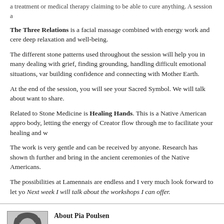a treatment or medical therapy claiming to be able to cure anything. A session a
The Three Relations is a facial massage combined with energy work and cere deep relaxation and well-being.
The different stone patterns used throughout the session will help you in many dealing with grief, finding grounding, handling difficult emotional situations, var building confidence and connecting with Mother Earth.
At the end of the session, you will see your Sacred Symbol. We will talk about want to share.
Related to Stone Medicine is Healing Hands. This is a Native American appro body, letting the energy of Creator flow through me to facilitate your healing and w
The work is very gentle and can be received by anyone. Research has shown th further and bring in the ancient ceremonies of the Native Americans.
The possibilities at Lamennais are endless and I very much look forward to let yo Next week I will talk about the workshops I can offer.
About Pia Poulsen
Pia Poulsen is educated as a wellness massage therapist at In certification exam in January 2008. Since then she has expand
[Figure (photo): Black and white portrait photo of Pia Poulsen, a woman with dark hair]